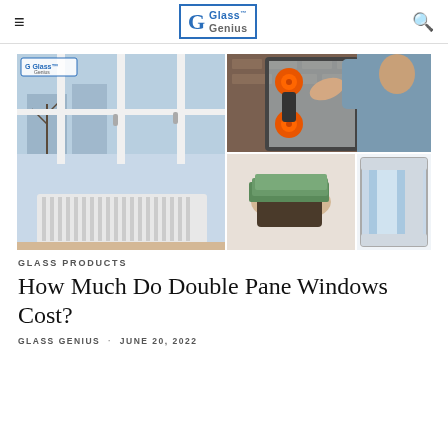Glass Genius — navigation header with hamburger menu and search icon
[Figure (photo): Collage of three images: left half shows white double-pane windows indoors with a radiator and bare trees visible outside; top right shows a person installing a glass pane using orange suction cup tools; bottom right shows a person holding cash and a wallet, plus a cross-section illustration of a double-pane window unit.]
GLASS PRODUCTS
How Much Do Double Pane Windows Cost?
GLASS GENIUS · JUNE 20, 2022